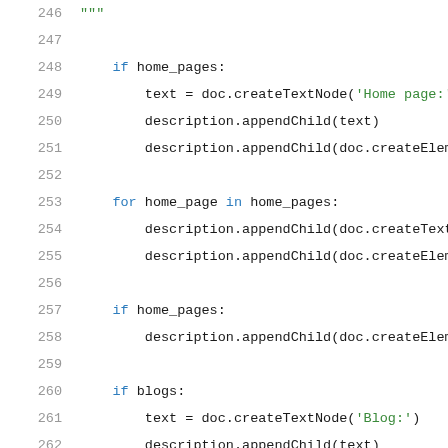Code listing lines 246-266, Python source code
246    """
247
248        if home_pages:
249            text = doc.createTextNode('Home page:')
250            description.appendChild(text)
251            description.appendChild(doc.createElement('b
252
253        for home_page in home_pages:
254            description.appendChild(doc.createTextNode(h
255            description.appendChild(doc.createElement('b
256
257        if home_pages:
258            description.appendChild(doc.createElement('b
259
260        if blogs:
261            text = doc.createTextNode('Blog:')
262            description.appendChild(text)
263            description.appendChild(doc.createElement('b
264
265        for blog in blogs:
266            description.appendChild(doc.createTextNode(b